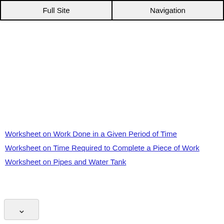Full Site | Navigation
Worksheet on Work Done in a Given Period of Time
Worksheet on Time Required to Complete a Piece of Work
Worksheet on Pipes and Water Tank